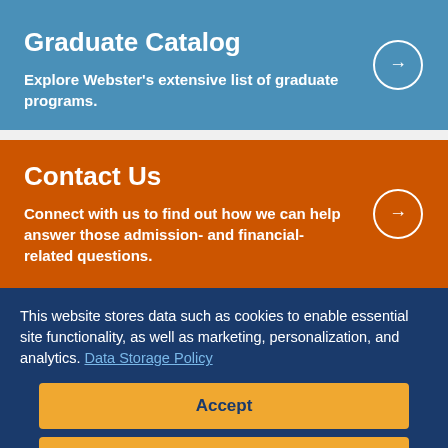Graduate Catalog
Explore Webster's extensive list of graduate programs.
Contact Us
Connect with us to find out how we can help answer those admission- and financial-related questions.
This website stores data such as cookies to enable essential site functionality, as well as marketing, personalization, and analytics. Data Storage Policy
Accept
Deny